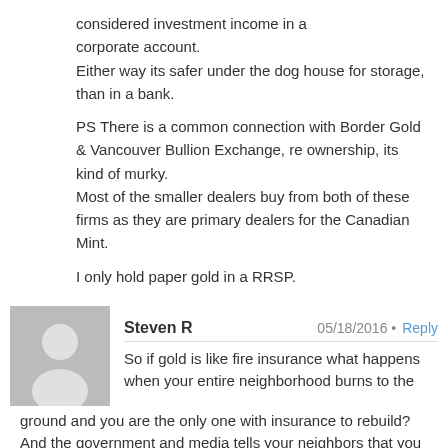considered investment income in a corporate account.
Either way its safer under the dog house for storage, than in a bank.

PS There is a common connection with Border Gold & Vancouver Bullion Exchange, re ownership, its kind of murky.
Most of the smaller dealers buy from both of these firms as they are primary dealers for the Canadian Mint.

I only hold paper gold in a RRSP.
Steven R  05/18/2016 · Reply
So if gold is like fire insurance what happens when your entire neighborhood burns to the ground and you are the only one with insurance to rebuild? And the government and media tells your neighbors that you have insurance because you cheated them and if fact it was you who hired the arsonist that caused them their losses? So what good...